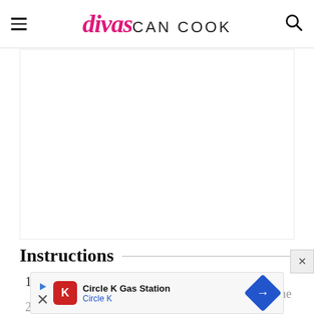divas CAN COOK
[Figure (other): White/empty image placeholder area]
Instructions
Wash and dry the fruit.
2. (partial, cut off) ...the
[Figure (other): Circle K Gas Station advertisement banner at bottom of page]